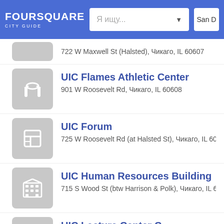[Figure (screenshot): Foursquare City Guide header with logo, search bar with Cyrillic placeholder 'Я ищу...' and dropdown arrow, and location field showing 'San D']
722 W Maxwell St (Halsted), Чикаго, IL 60607
UIC Flames Athletic Center
901 W Roosevelt Rd, Чикаго, IL 60608
UIC Forum
725 W Roosevelt Rd (at Halsted St), Чикаго, IL 60
UIC Human Resources Building
715 S Wood St (btw Harrison & Polk), Чикаго, IL 6
UIC Lecture Center C
801 S Morgan St, Чикаго, IL 60607
UIC Library Of The Health Scie
1746 W Polk St. (Wood), Чикаго, IL 60612
UIC Pavilion